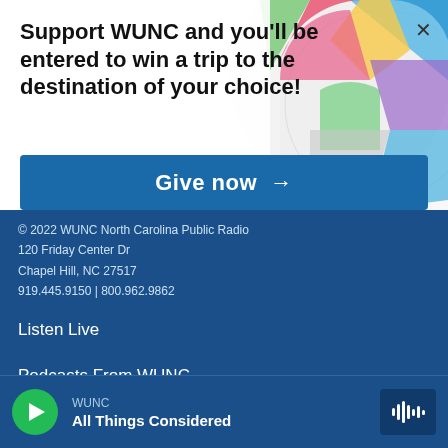Support WUNC and you'll be entered to win a trip to the destination of your choice!
Give now →
© 2022 WUNC North Carolina Public Radio
120 Friday Center Dr
Chapel Hill, NC 27517
919.445.9150 | 800.962.9862
Listen Live
Podcasts From WUNC
Events
About
WUNC
All Things Considered